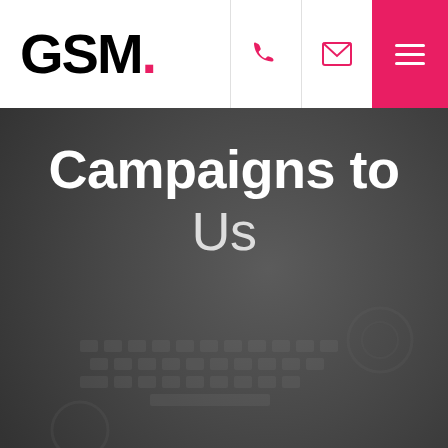GSM.
[Figure (screenshot): Website screenshot showing GSM agency header with logo, phone icon, email icon, and hamburger menu. Background shows a dark-overlaid photo of hands on a keyboard/desk.]
Campaigns to Us